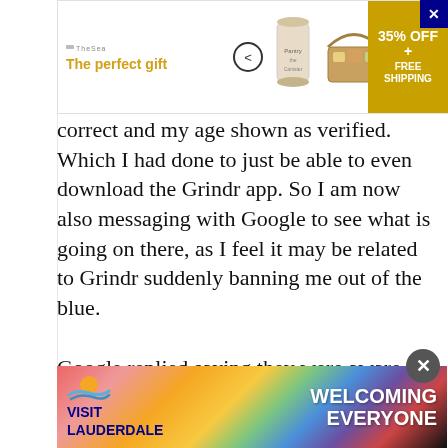[Figure (screenshot): Top advertisement banner for 'The perfect gift' with TheSeasons branding, navigation arrows, product image, and a gold promo box showing '35% OFF + FREE SHIPPING']
correct and my age shown as verified. Which I had done to just be able to even download the Grindr app. So I am now also messaging with Google to see what is going on there, as I feel it may be related to Grindr suddenly banning me out of the blue.

Google replied saying they were aware of an issue where some of their systems have trouble reading the age verification data and I may be one of the thousands affected by it, they are working on the problem but no fixed date can be given as to when the issue will be resolved. I may be...
[Figure (screenshot): Bottom advertisement banner for Visit Lauderdale with rainbow pride flag diagonal stripes and text reading 'WELCOMING EVERYONE']